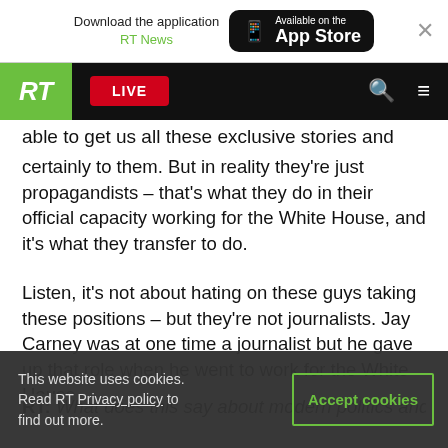Download the application RT News — Available on the App Store
RT LIVE
able to get us all these exclusive stories and bring
certainly to them. But in reality they're just propagandists – that's what they do in their official capacity working for the White House, and it's what they transfer to do.
Listen, it's not about hating on these guys taking these positions – but they're not journalists. Jay Carney was at one time a journalist but he gave up that role when he went to work for the White House.
RT: What does this say about modern politics and [journalism?]
This website uses cookies. Read RT Privacy policy to find out more.
Accept cookies